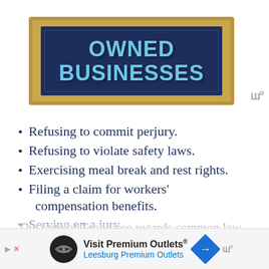[Figure (illustration): Chalkboard-style graphic with gold frame and dark navy background showing the text 'OWNED BUSINESSES' in large bold light blue letters]
Refusing to commit perjury.
Refusing to violate safety laws.
Exercising meal break and rest rights.
Filing a claim for workers' compensation benefits.
Serving on a jury.
The state of Tennessee regards common law protections as standalone protections that supplement statutory protections. This means statutory protections do not override c... a... under
[Figure (other): Advertisement banner for Visit Premium Outlets / Leesburg Premium Outlets with logo icon and directional sign icon]